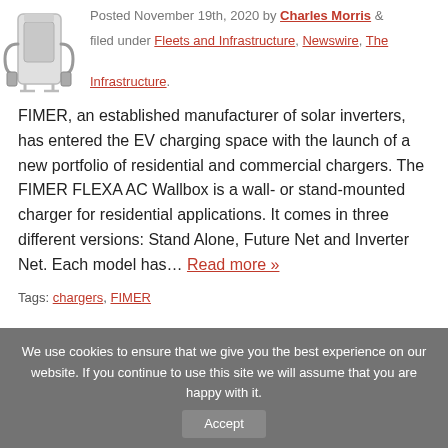[Figure (illustration): EV charging station / wallbox charger illustration in grayscale]
Posted November 19th, 2020 by Charles Morris &
filed under Fleets and Infrastructure, Newswire, The Infrastructure.
FIMER, an established manufacturer of solar inverters, has entered the EV charging space with the launch of a new portfolio of residential and commercial chargers. The FIMER FLEXA AC Wallbox is a wall- or stand-mounted charger for residential applications. It comes in three different versions: Stand Alone, Future Net and Inverter Net. Each model has… Read more »
Tags: chargers, FIMER
We use cookies to ensure that we give you the best experience on our website. If you continue to use this site we will assume that you are happy with it